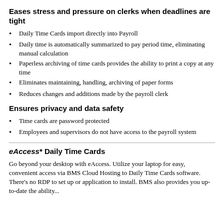Eases stress and pressure on clerks when deadlines are tight
Daily Time Cards import directly into Payroll
Daily time is automatically summarized to pay period time, eliminating manual calculation
Paperless archiving of time cards provides the ability to print a copy at any time
Eliminates maintaining, handling, archiving of paper forms
Reduces changes and additions made by the payroll clerk
Ensures privacy and data safety
Time cards are password protected
Employees and supervisors do not have access to the payroll system
eAccess* Daily Time Cards
Go beyond your desktop with eAccess. Utilize your laptop for easy, convenient access via BMS Cloud Hosting to Daily Time Cards software. There's no RDP to set up or application to install. BMS also provides you up-to-date the ability...